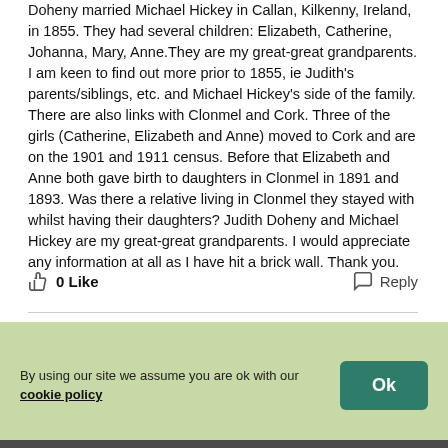Doheny married Michael Hickey in Callan, Kilkenny, Ireland, in 1855. They had several children: Elizabeth, Catherine, Johanna, Mary, Anne.They are my great-great grandparents. I am keen to find out more prior to 1855, ie Judith's parents/siblings, etc. and Michael Hickey's side of the family. There are also links with Clonmel and Cork. Three of the girls (Catherine, Elizabeth and Anne) moved to Cork and are on the 1901 and 1911 census. Before that Elizabeth and Anne both gave birth to daughters in Clonmel in 1891 and 1893. Was there a relative living in Clonmel they stayed with whilst having their daughters? Judith Doheny and Michael Hickey are my great-great grandparents. I would appreciate any information at all as I have hit a brick wall. Thank you.
0 Like   Reply
By using our site we assume you are ok with our cookie policy